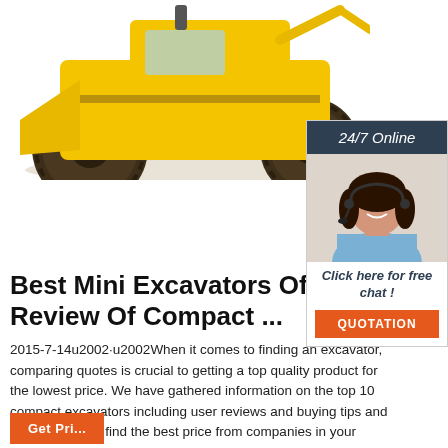[Figure (photo): Yellow construction excavator/grader machine photographed from front-low angle showing large tires and yellow body]
[Figure (photo): 24/7 Online chat widget with dark blue header saying '24/7 Online', photo of a smiling woman with headset, 'Click here for free chat!' text, and orange QUOTATION button]
Best Mini Excavators Of 2021 Review Of Compact ...
2015-7-14u2002·u2002When it comes to finding an excavator, comparing quotes is crucial to getting a top quality product for the lowest price. We have gathered information on the top 10 compact excavators including user reviews and buying tips and made it easy to find the best price from companies in your area.